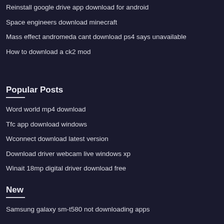Reinstall google drive app download for android
Space engineers download minecraft
Mass effect andromeda cant download ps4 says unavailable
How to download a ck2 mod
Popular Posts
Word world mp4 download
Tfc app download windows
Wconnect download latest version
Download driver webcam live windows xp
Winait 18mp digital driver download free
New
Samsung galaxy sm-t580 not downloading apps